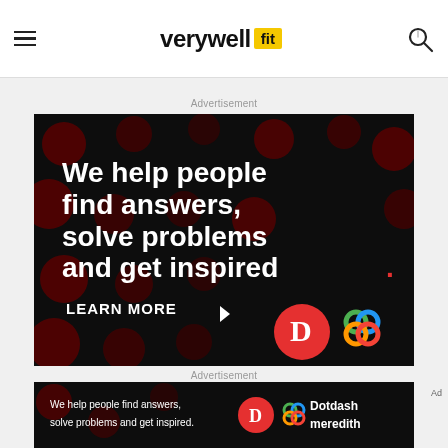verywell fit
Advertisement
[Figure (illustration): Dotdash Meredith advertisement on dark background with red bokeh dots. Text: 'We help people find answers, solve problems and get inspired. LEARN MORE' with Dotdash D logo and Meredith interlocking rings logo.]
Advertisement
Ad
[Figure (illustration): Smaller Dotdash Meredith banner ad with same messaging: 'We help people find answers, solve problems and get inspired.' with logos and 'Dotdash meredith' text.]